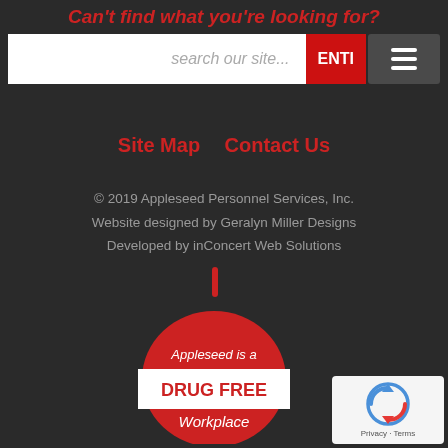Can't find what you're looking for?
[Figure (screenshot): Search bar with placeholder 'search our site...' and red ENTER button, plus a dark hamburger menu button]
Site Map    Contact Us
© 2019 Appleseed Personnel Services, Inc.
Website designed by Geralyn Miller Designs
Developed by inConcert Web Solutions
[Figure (logo): Red apple logo with text 'Appleseed is a DRUG FREE Workplace' and a white banner across the middle]
[Figure (other): reCAPTCHA badge with Privacy and Terms links]